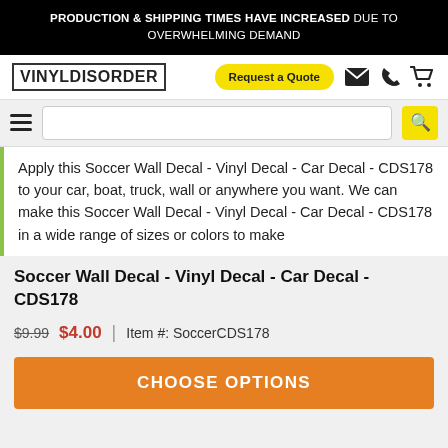PRODUCTION & SHIPPING TIMES HAVE INCREASED DUE TO OVERWHELMING DEMAND
[Figure (logo): VinylDisorder logo in grunge/blocky font with border]
Request a Quote
Apply this Soccer Wall Decal - Vinyl Decal - Car Decal - CDS178 to your car, boat, truck, wall or anywhere you want. We can make this Soccer Wall Decal - Vinyl Decal - Car Decal - CDS178 in a wide range of sizes or colors to make
Soccer Wall Decal - Vinyl Decal - Car Decal - CDS178
$9.99  $4.00  |  Item #: SoccerCDS178
CHOOSE OPTIONS